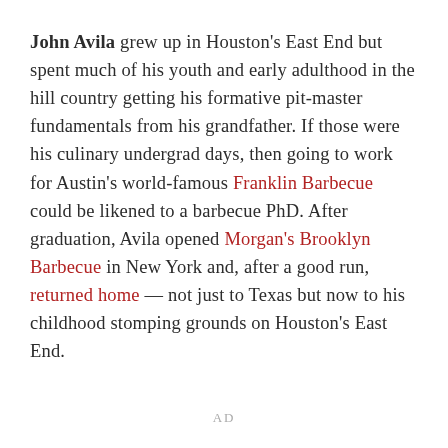John Avila grew up in Houston's East End but spent much of his youth and early adulthood in the hill country getting his formative pit-master fundamentals from his grandfather. If those were his culinary undergrad days, then going to work for Austin's world-famous Franklin Barbecue could be likened to a barbecue PhD. After graduation, Avila opened Morgan's Brooklyn Barbecue in New York and, after a good run, returned home — not just to Texas but now to his childhood stomping grounds on Houston's East End.
AD